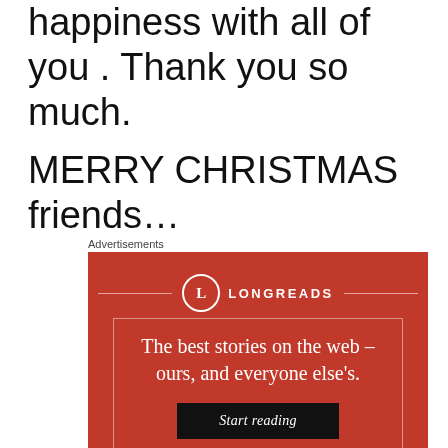happiness with all of you . Thank you so much.
MERRY CHRISTMAS friends…
Advertisements
[Figure (other): Longreads advertisement on red background with logo, tagline 'The best stories on the web – ours, and everyone else's.' and a 'Start reading' button]